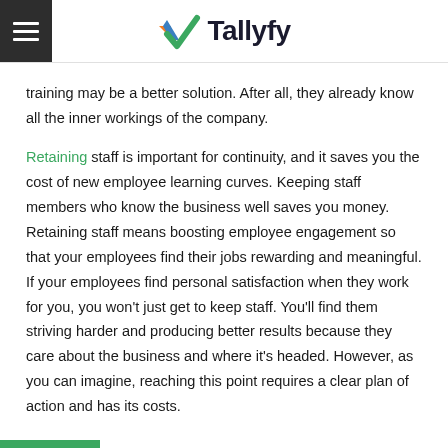[Figure (logo): Tallyfy logo with green checkmark icon and dark text]
training may be a better solution. After all, they already know all the inner workings of the company.
Retaining staff is important for continuity, and it saves you the cost of new employee learning curves. Keeping staff members who know the business well saves you money. Retaining staff means boosting employee engagement so that your employees find their jobs rewarding and meaningful. If your employees find personal satisfaction when they work for you, you won't just get to keep staff. You'll find them striving harder and producing better results because they care about the business and where it's headed. However, as you can imagine, reaching this point requires a clear plan of action and has its costs.